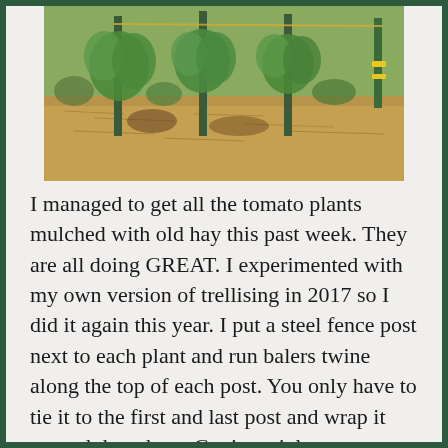[Figure (photo): Garden photo showing tomato plants staked with steel fence posts, mulched with old hay. Green plants visible along posts with yellow baler twine. Brown hay mulch on ground.]
I managed to get all the tomato plants mulched with old hay this past week. They are all doing GREAT. I experimented with my own version of trellising in 2017 so I did it again this year. I put a steel fence post next to each plant and run balers twine along the top of each post. You only have to tie it to the first and last post and wrap it around the others. Get it as tight as you can... Unless it is very (VERY) old it won't break. I always